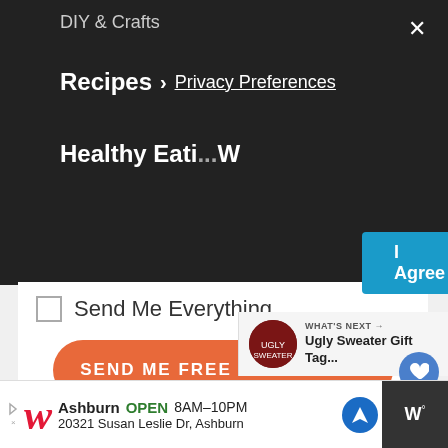DIY & Crafts
Recipes ❯ Privacy Preferences
[Figure (screenshot): I Agree button in teal/blue]
Healthy Eating ... W
☐ Send Me Everything
SEND ME FREE PRINTABLES
We won't send you spam. Unsubscribe at any time.
WHAT'S NEXT → Ugly Sweater Gift Tag...
Ashburn OPEN 8AM–10PM 20321 Susan Leslie Dr, Ashburn